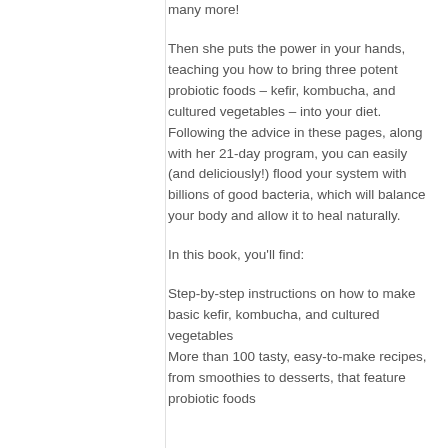many more!
Then she puts the power in your hands, teaching you how to bring three potent probiotic foods – kefir, kombucha, and cultured vegetables – into your diet. Following the advice in these pages, along with her 21-day program, you can easily (and deliciously!) flood your system with billions of good bacteria, which will balance your body and allow it to heal naturally.
In this book, you'll find:
Step-by-step instructions on how to make basic kefir, kombucha, and cultured vegetables
More than 100 tasty, easy-to-make recipes, from smoothies to desserts, that feature probiotic foods